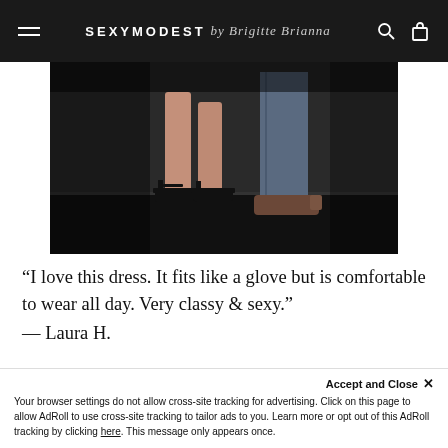SEXYMODEST by Brigitte Brianna
[Figure (photo): Close-up photo of woman's legs wearing black strappy heeled sandals on a dark floor, with a man's jeans-clad leg and brown dress shoe visible beside her]
“I love this dress. It fits like a glove but is comfortable to wear all day. Very classy & sexy.” — Laura H.
PEPLUM DRESS
Accept and Close ×
Your browser settings do not allow cross-site tracking for advertising. Click on this page to allow AdRoll to use cross-site tracking to tailor ads to you. Learn more or opt out of this AdRoll tracking by clicking here. This message only appears once.